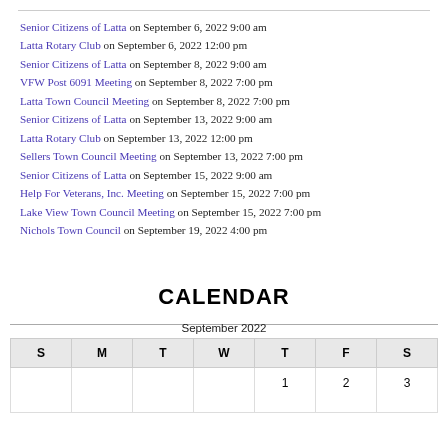Senior Citizens of Latta on September 6, 2022 9:00 am
Latta Rotary Club on September 6, 2022 12:00 pm
Senior Citizens of Latta on September 8, 2022 9:00 am
VFW Post 6091 Meeting on September 8, 2022 7:00 pm
Latta Town Council Meeting on September 8, 2022 7:00 pm
Senior Citizens of Latta on September 13, 2022 9:00 am
Latta Rotary Club on September 13, 2022 12:00 pm
Sellers Town Council Meeting on September 13, 2022 7:00 pm
Senior Citizens of Latta on September 15, 2022 9:00 am
Help For Veterans, Inc. Meeting on September 15, 2022 7:00 pm
Lake View Town Council Meeting on September 15, 2022 7:00 pm
Nichols Town Council on September 19, 2022 4:00 pm
CALENDAR
| S | M | T | W | T | F | S |
| --- | --- | --- | --- | --- | --- | --- |
|  |  |  |  | 1 | 2 | 3 |